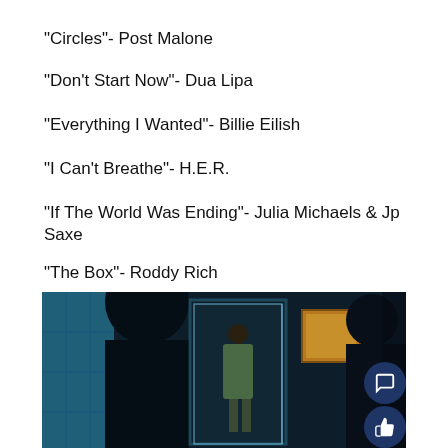“Circles”- Post Malone
“Don’t Start Now”- Dua Lipa
“Everything I Wanted”- Billie Eilish
“I Can’t Breathe”- H.E.R.
“If The World Was Ending”- Julia Michaels & Jp Saxe
“The Box”- Roddy Rich
[Figure (photo): A dimly lit scene showing a person standing inside a glass box/case in what appears to be a dark room or gallery. A silhouette of a person is visible on the right, and a large dark silhouette is on the left. A painting is visible on the wall in the background. The lighting is predominantly blue-teal.]